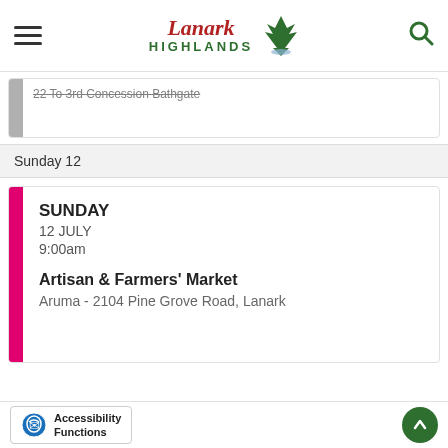Lanark Highlands
22 To 3rd Concession Bathgate
Sunday 12
SUNDAY
12 JULY
9:00am

Artisan & Farmers' Market
Aruma - 2104 Pine Grove Road, Lanark
Accessibility Functions